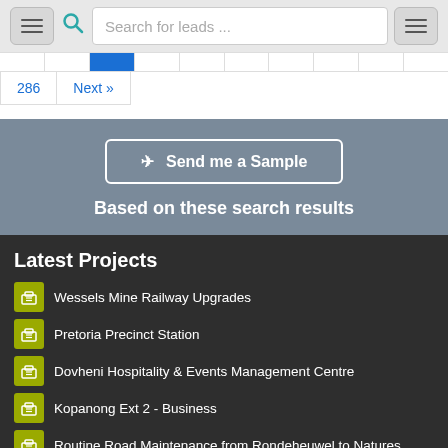[Figure (screenshot): Top navigation bar with hamburger menu, search icon, search box reading 'Search for leads ...', and another hamburger menu button on the right]
[Figure (screenshot): Pagination bar with highlighted active page in blue, showing page 286 and Next navigation]
[Figure (screenshot): CTA button 'Send me a Sample' with subtitle 'Based on these search results' on grey background]
Latest Projects
Wessels Mine Railway Upgrades
Pretoria Precinct Station
Dovheni Hospitality & Events Management Centre
Kopanong Ext 2 - Business
Routine Road Maintenance from Rondeheuwel to Natures